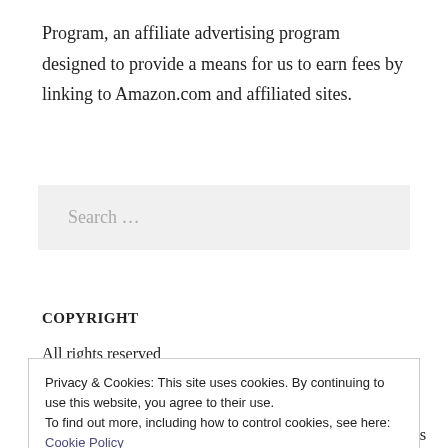Program, an affiliate advertising program designed to provide a means for us to earn fees by linking to Amazon.com and affiliated sites.
[Figure (other): Search input field with placeholder text 'Search ...' on a light gray background]
COPYRIGHT
All rights reserved
Privacy & Cookies: This site uses cookies. By continuing to use this website, you agree to their use.
To find out more, including how to control cookies, see here: Cookie Policy
Close and accept
piracy of copyrighted materials in violation of the author's